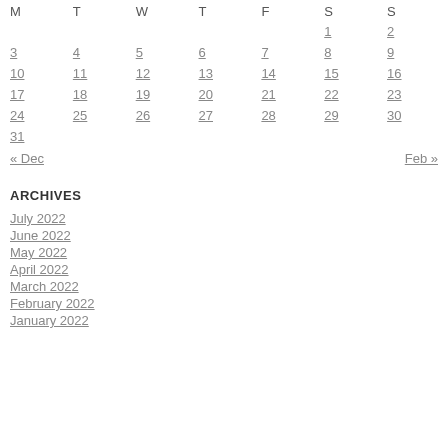| M | T | W | T | F | S | S |
| --- | --- | --- | --- | --- | --- | --- |
|  |  |  |  |  | 1 | 2 |
| 3 | 4 | 5 | 6 | 7 | 8 | 9 |
| 10 | 11 | 12 | 13 | 14 | 15 | 16 |
| 17 | 18 | 19 | 20 | 21 | 22 | 23 |
| 24 | 25 | 26 | 27 | 28 | 29 | 30 |
| 31 |  |  |  |  |  |  |
« Dec    Feb »
ARCHIVES
July 2022
June 2022
May 2022
April 2022
March 2022
February 2022
January 2022